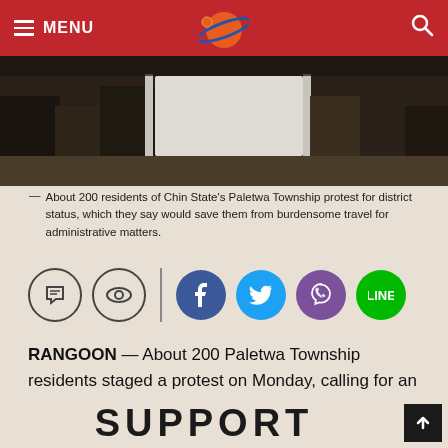MENU
[Figure (photo): Photo of approximately 200 residents of Chin State's Paletwa Township holding a white sign and protesting for district status.]
About 200 residents of Chin State's Paletwa Township protest for district status, which they say would save them from burdensome travel for administrative matters.
[Figure (other): Social media sharing icons: comment, eye/view, Facebook, Twitter, Viber, Line]
RANGOON — About 200 Paletwa Township residents staged a protest on Monday, calling for an administrative upgrading of their town in Chin State to district status, said township authority Maung Maung Soe.
SUPPORT